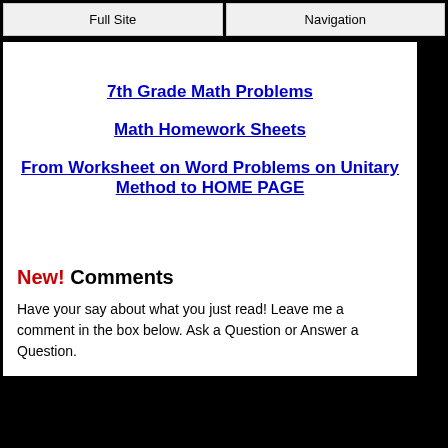Full Site | Navigation
7th Grade Math Problems
Math Homework Sheets
From Worksheet on Word Problems on Unitary Method to HOME PAGE
New! Comments
Have your say about what you just read! Leave me a comment in the box below. Ask a Question or Answer a Question.